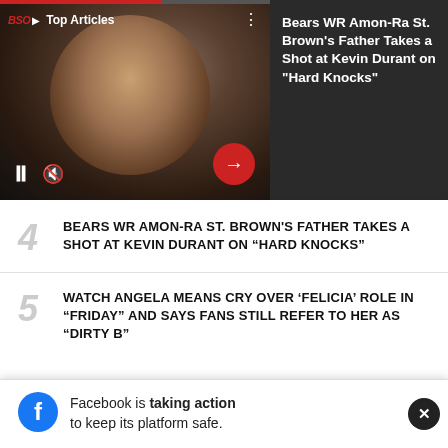[Figure (screenshot): Video player showing Kevin Durant photo with BSO Top Articles label, pause and mute controls, red arrow button. Right panel shows article headline text on dark background.]
Bears WR Amon-Ra St. Brown's Father Takes a Shot at Kevin Durant on "Hard Knocks"
4 BEARS WR AMON-RA ST. BROWN'S FATHER TAKES A SHOT AT KEVIN DURANT ON “HARD KNOCKS”
5 WATCH ANGELA MEANS CRY OVER ‘FELICIA’ ROLE IN “FRIDAY” AND SAYS FANS STILL REFER TO HER AS “DIRTY B”
BSO APP
Facebook is taking action to keep its platform safe.